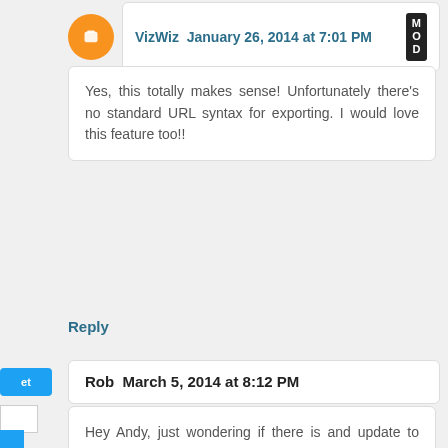VizWiz  January 26, 2014 at 7:01 PM  MOD
Yes, this totally makes sense! Unfortunately there's no standard URL syntax for exporting. I would love this feature too!!
Reply
Rob  March 5, 2014 at 8:12 PM
Hey Andy, just wondering if there is and update to your first reply in this tread regarding "specify the order of the columns when you export them". I'm running 8.1. Thanks